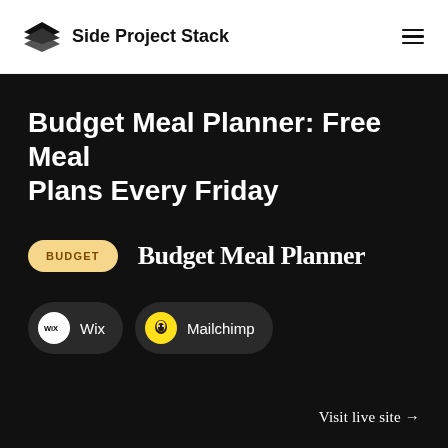Side Project Stack
Budget Meal Planner: Free Meal Plans Every Friday
BUDGET
Budget Meal Planner
Wix
Mailchimp
Visit live site →